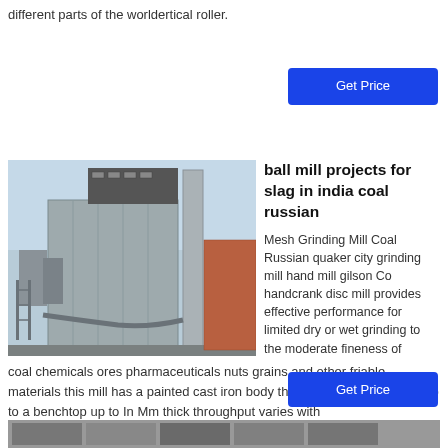different parts of the worldertical roller.
Get Price
ball mill projects for slag in india coal russian
[Figure (photo): Industrial ball mill or grinding facility building exterior with large grey metallic structure, silos, pipes and ductwork against a hazy sky]
Mesh Grinding Mill Coal Russian quaker city grinding mill hand mill gilson Co handcrank disc mill provides effective performance for limited dry or wet grinding to the moderate fineness of coal chemicals ores pharmaceuticals nuts grains and other friable materials this mill has a painted cast iron body that mounts by screw clamp to a benchtop up to In Mm thick throughput varies with
Get Price
[Figure (photo): Bottom strip showing partial thumbnail images]